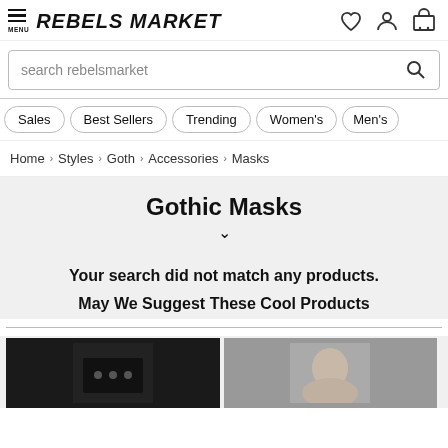REBELS MARKET — navigation header with menu, logo, wishlist, account, and cart icons
search rebelsmarket
Sales
Best Sellers
Trending
Women's
Men's
Home > Styles > Goth > Accessories > Masks
Gothic Masks
Your search did not match any products.
May We Suggest These Cool Products
[Figure (photo): Two product thumbnail images at the bottom of the page, partially visible]